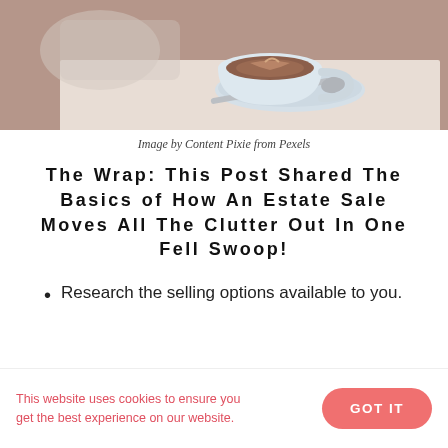[Figure (photo): Photo of a latte art coffee cup on a saucer with a spoon, on a light surface with soft background]
Image by Content Pixie from Pexels
The Wrap: This Post Shared The Basics of How An Estate Sale Moves All The Clutter Out In One Fell Swoop!
Research the selling options available to you.
This website uses cookies to ensure you get the best experience on our website.